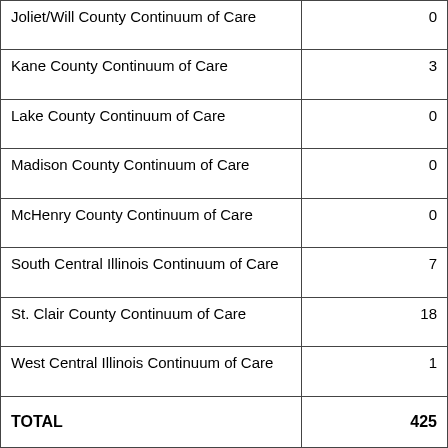| CoC Name | Count |
| --- | --- |
| Joliet/Will County Continuum of Care | 0 |
| Kane County Continuum of Care | 3 |
| Lake County Continuum of Care | 0 |
| Madison County Continuum of Care | 0 |
| McHenry County Continuum of Care | 0 |
| South Central Illinois Continuum of Care | 7 |
| St. Clair County Continuum of Care | 18 |
| West Central Illinois Continuum of Care | 1 |
| TOTAL | 425 |